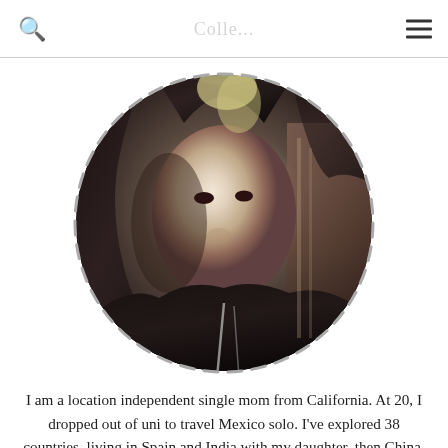Colle... [logo/watermark]
[Figure (photo): Circular profile photo of a woman with dark hair, wearing a dark headscarf/wrap, looking upward. Photo is framed in a dashed circle border. Background shows decorative wooden architecture.]
I am a location independent single mom from California. At 20, I dropped out of uni to travel Mexico solo. I've explored 38 countries, living in Spain and India with my daughter, then China, Hong Kong, an island in Indonesia, Pakistan, and now for a 2nd time in Malaysia as an empty nester.